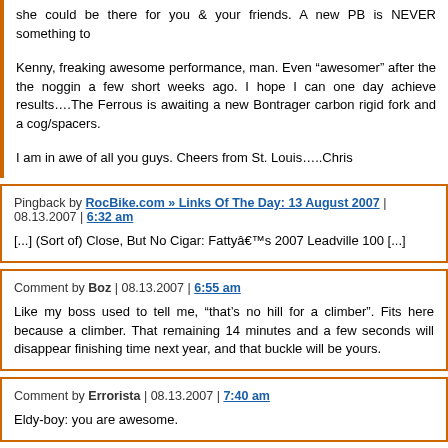she could be there for you & your friends. A new PB is NEVER something to
Kenny, freaking awesome performance, man. Even “awesomer” after the the noggin a few short weeks ago. I hope I can one day achieve results....The Ferrous is awaiting a new Bontrager carbon rigid fork and a cog/spacers.
I am in awe of all you guys. Cheers from St. Louis.....Chris
Pingback by RocBike.com » Links Of The Day: 13 August 2007 | 08.13.2007 | 6:32 am
[...] (Sort of) Close, But No Cigar: Fattyâ€™s 2007 Leadville 100 [...]
Comment by Boz | 08.13.2007 | 6:55 am
Like my boss used to tell me, “that’s no hill for a climber”. Fits here because a climber. That remaining 14 minutes and a few seconds will disappear finishing time next year, and that buckle will be yours.
Comment by Errorista | 08.13.2007 | 7:40 am
Eldy-boy: you are awesome.